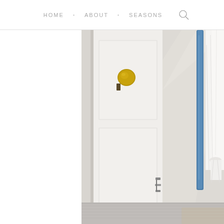HOME • ABOUT • SEASONS
[Figure (photo): Close-up photograph of a white interior door with a round brass/gold door knob. A blue strap or bag handle is visible hanging on the right side, and white fabric (possibly a garment or curtain) is partially visible. The bottom of the image shows a gray textured surface (laundry basket or similar). The door has a panel detail and door hardware visible near the bottom.]